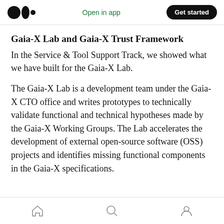Medium app header with logo, Open in app link, and Get started button
Gaia-X Lab and Gaia-X Trust Framework
In the Service & Tool Support Track, we showed what we have built for the Gaia-X Lab.
The Gaia-X Lab is a development team under the Gaia-X CTO office and writes prototypes to technically validate functional and technical hypotheses made by the Gaia-X Working Groups. The Lab accelerates the development of external open-source software (OSS) projects and identifies missing functional components in the Gaia-X specifications.
Home / Search / Profile navigation icons